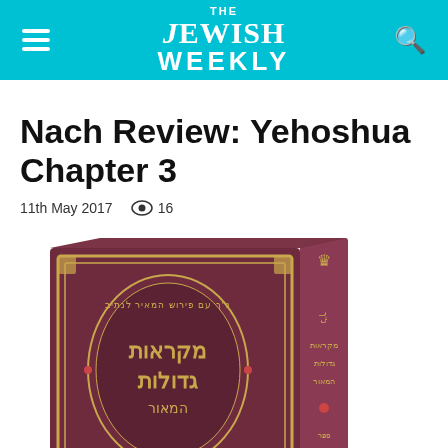THE JEWISH WEEKLY
Nach Review: Yehoshua Chapter 3
11th May 2017   👁 16
[Figure (photo): A burgundy/maroon hardcover Jewish religious book (Mikraot Gedolot HaMaor) shown at an angle, with Hebrew text on the front cover and spine. The cover has decorative gold borders and Hebrew lettering.]